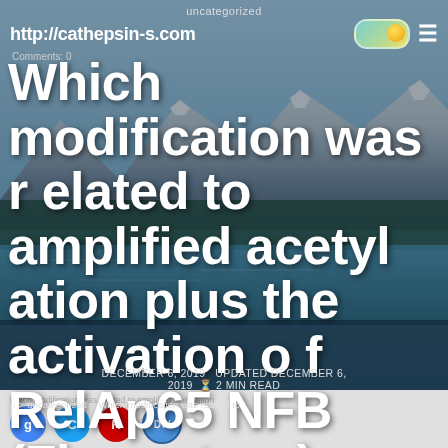uncategorized
http://cathepsin-s.com
Which modification was related to amplified acetylation plus the activation of RelAp65 NFB (Figure two)
DECEMBER 6, 2019  UPDATED DECEMBER 6, 2019  2 MIN READ
> uncategorized > Which modification was related to
which modification was related to amplified acetylation